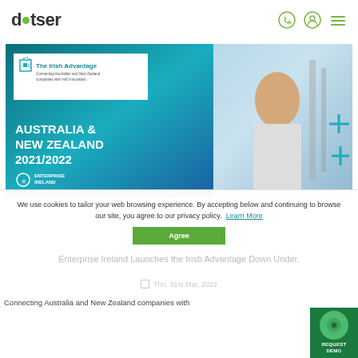dotser
[Figure (screenshot): Dotser website screenshot showing The Irish Advantage banner for Australia & New Zealand 2021/2022 Enterprise Ireland campaign, with a woman working at industrial machinery in the background]
We use cookies to tailor your web browsing experience. By accepting below and continuing to browse our site, you agree to our privacy policy. Learn More
Enterprise Ireland Launches the Irish Advantage Down Under.
Thu, 31st Mar, 2022
Connecting Australia and New Zealand companies with